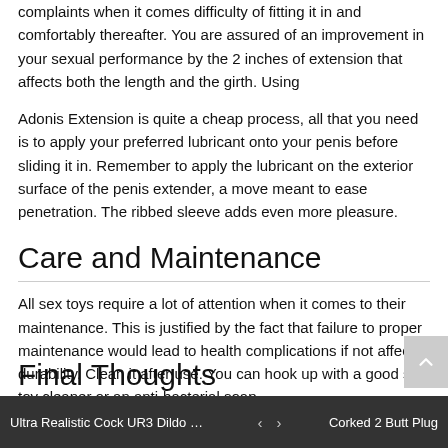complaints when it comes difficulty of fitting it in and comfortably thereafter. You are assured of an improvement in your sexual performance by the 2 inches of extension that affects both the length and the girth. Using
Adonis Extension is quite a cheap process, all that you need is to apply your preferred lubricant onto your penis before sliding it in. Remember to apply the lubricant on the exterior surface of the penis extender, a move meant to ease penetration. The ribbed sleeve adds even more pleasure.
Care and Maintenance
All sex toys require a lot of attention when it comes to their maintenance. This is justified by the fact that failure to proper maintenance would lead to health complications if not affect durability. Clean it after use. You can hook up with a good sex toy cleaner or an anti-bacterial soap.
Final Thoughts
Ultra Realistic Cock UR3 Dildo Re...   <   >   Corked 2 Butt Plug